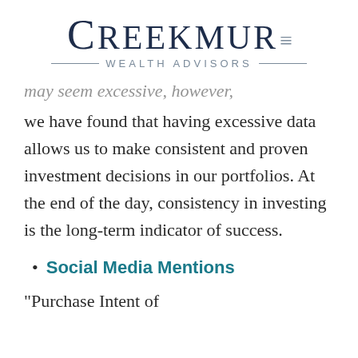CREEKMUR WEALTH ADVISORS
may seem excessive, however,
we have found that having excessive data allows us to make consistent and proven investment decisions in our portfolios. At the end of the day, consistency in investing is the long-term indicator of success.
Social Media Mentions
"Purchase Intent of